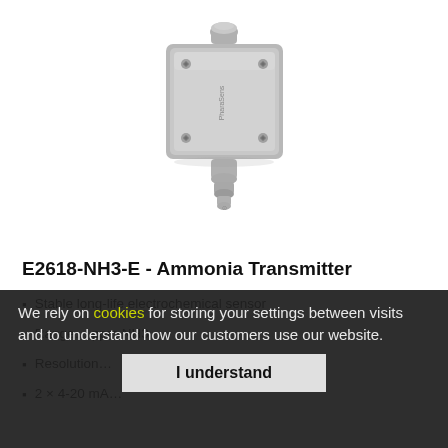[Figure (photo): Photo of PharaSens E2618-NH3-E Ammonia Transmitter - a grey metal square enclosure with cable glands on top and bottom, four corner screws visible, mounted against white background.]
E2618-NH3-E - Ammonia Transmitter
We rely on cookies for storing your settings between visits and to understand how our customers use our website.
Stable long-life electrochemical sensor
Range: … ppm NH3
Resolution: …
2 × 4-20 mA …
I understand